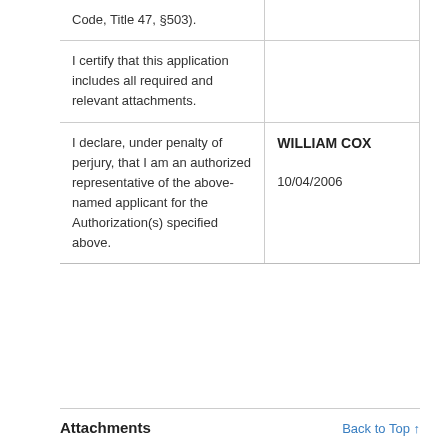| Code, Title 47, §503). |  |
| I certify that this application includes all required and relevant attachments. |  |
| I declare, under penalty of perjury, that I am an authorized representative of the above-named applicant for the Authorization(s) specified above. | WILLIAM COX

10/04/2006 |
Attachments
Back to Top ↑